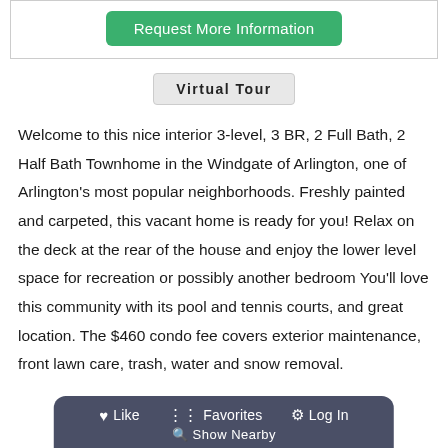[Figure (screenshot): Green 'Request More Information' button inside a bordered box]
Virtual Tour
Welcome to this nice interior 3-level, 3 BR, 2 Full Bath, 2 Half Bath Townhome in the Windgate of Arlington, one of Arlington's most popular neighborhoods. Freshly painted and carpeted, this vacant home is ready for you! Relax on the deck at the rear of the house and enjoy the lower level space for recreation or possibly another bedroom You'll love this community with its pool and tennis courts, and great location. The $460 condo fee covers exterior maintenance, front lawn care, trash, water and snow removal.
Like   Favorites   Log In   Show Nearby